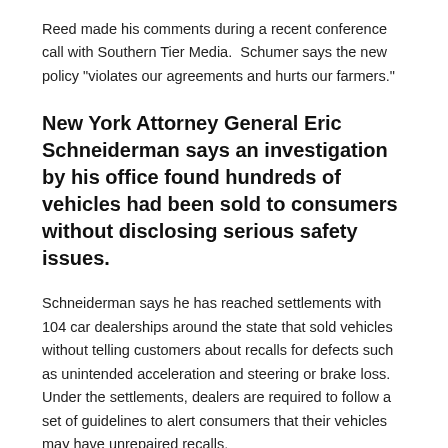Reed made his comments during a recent conference call with Southern Tier Media.  Schumer says the new policy "violates our agreements and hurts our farmers."
New York Attorney General Eric Schneiderman says an investigation by his office found hundreds of vehicles had been sold to consumers without disclosing serious safety issues.
Schneiderman says he has reached settlements with 104 car dealerships around the state that sold vehicles without telling customers about recalls for defects such as unintended acceleration and steering or brake loss.  Under the settlements, dealers are required to follow a set of guidelines to alert consumers that their vehicles may have unrepaired recalls.